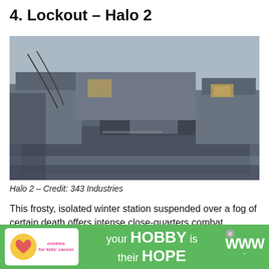4. Lockout – Halo 2
[Figure (photo): Screenshot of the Lockout map from Halo 2, showing a frosty, industrial-looking winter station with grey metallic platforms, walkways, and structures under a hazy fog atmosphere.]
Halo 2 – Credit: 343 Industries
This frosty, isolated winter station suspended over a fog of certain death offers intense close-quarters combat combined with lanes to snipe foes and blast them with rocket-powered projectiles. Versatility in str... Inc...